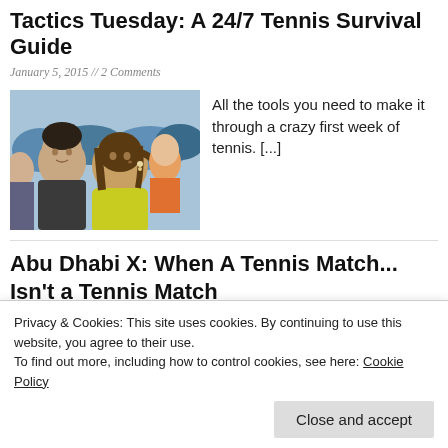Tactics Tuesday: A 24/7 Tennis Survival Guide
January 5, 2015 // 2 Comments
[Figure (photo): Two people watching a tennis match in a crowd; woman in yellow hoodie, man in dark shirt beside her.]
All the tools you need to make it through a crazy first week of tennis. [...]
Abu Dhabi X: When A Tennis Match... Isn't a Tennis Match
Privacy & Cookies: This site uses cookies. By continuing to use this website, you agree to their use.
To find out more, including how to control cookies, see here: Cookie Policy
Close and accept